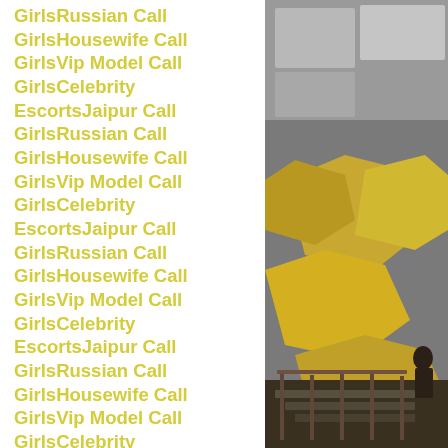GirlsRussian Call GirlsHousewife Call GirlsVip Model Call GirlsCelebrity EscortsJaipur Call GirlsRussian Call GirlsHousewife Call GirlsVip Model Call GirlsCelebrity EscortsJaipur Call GirlsRussian Call GirlsHousewife Call GirlsVip Model Call GirlsCelebrity EscortsJaipur Call GirlsRussian Call GirlsHousewife Call GirlsVip Model Call GirlsCelebrity EscortsJaipur Call GirlsRussian Call GirlsHousewife Call GirlsVip Model Call GirlsCelebrity EscortsJaipur Call GirlsRussian Call GirlsHousewife Call GirlsVip Model Call GirlsCelebrity EscortsJaipur Call GirlsRussian Call GirlsHousewife Call GirlsVip Model Call GirlsCelebrity EscortsJaipur Call GirlsRussian Call GirlsHousewife Call GirlsVip Model Call GirlsCelebrity EscortsJaipur Call GirlsRussian Call GirlsHousewife Call GirlsVip Model Call GirlsCelebrity
[Figure (photo): Industrial or architectural interior photo showing large geometric panels (grey and gold/yellow hexagonal or angular shapes) and metal stairs/railing structure.]